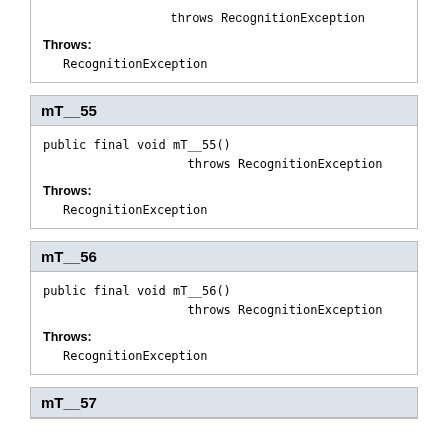throws RecognitionException
Throws:
RecognitionException
mT__55
public final void mT__55()
                throws RecognitionException
Throws:
RecognitionException
mT__56
public final void mT__56()
                throws RecognitionException
Throws:
RecognitionException
mT__57